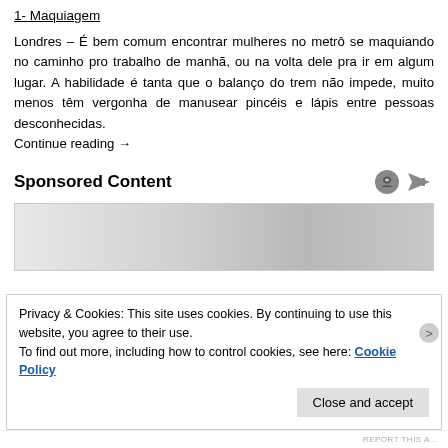1- Maquiagem
Londres – É bem comum encontrar mulheres no metrô se maquiando no caminho pro trabalho de manhã, ou na volta dele pra ir em algum lugar. A habilidade é tanta que o balanço do trem não impede, muito menos têm vergonha de manusear pincéis e lápis entre pessoas desconhecidas.
Continue reading →
Sponsored Content
[Figure (other): Advertisement placeholder box with gradient gray background]
Privacy & Cookies: This site uses cookies. By continuing to use this website, you agree to their use.
To find out more, including how to control cookies, see here: Cookie Policy
Close and accept